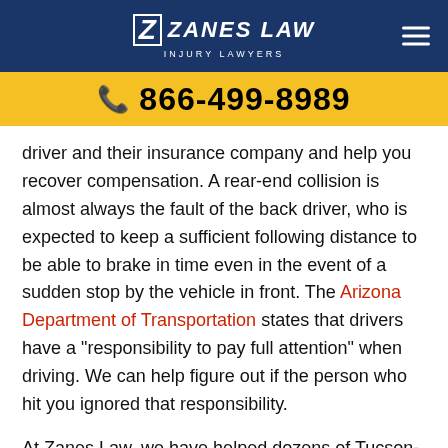Zanes Law Injury Lawyers
866-499-8989
driver and their insurance company and help you recover compensation. A rear-end collision is almost always the fault of the back driver, who is expected to keep a sufficient following distance to be able to brake in time even in the event of a sudden stop by the vehicle in front. The Arizona Department of Transportation states that drivers have a “responsibility to pay full attention” when driving. We can help figure out if the person who hit you ignored that responsibility.
At Zanes Law, we have helped dozens of Tucson-area